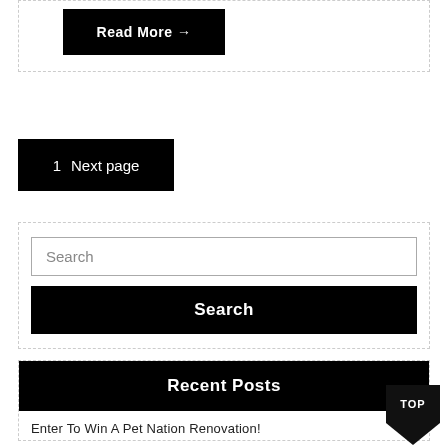Read More →
1  Next page
Search
Search
Recent Posts
Enter To Win A Pet Nation Renovation!
TOP